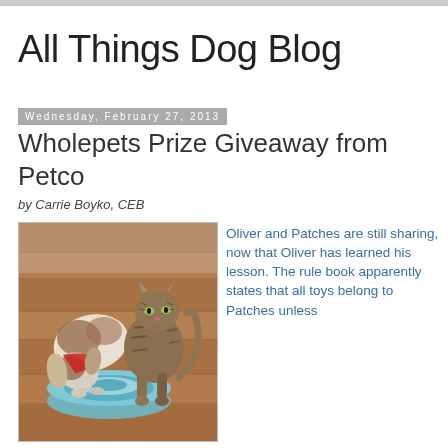All Things Dog Blog
Wednesday, February 27, 2013
Wholepets Prize Giveaway from Petco
by Carrie Boyko, CEB
[Figure (photo): A dog and a cat sharing a round blue circular scratch pad toy on a hardwood floor. The dog appears to be a Spaniel wearing a red bandana, and the cat is a tabby cat.]
Oliver and Patches are still sharing, now that Oliver has learned his lesson. The rule book apparently states that all toys belong to Patches unless